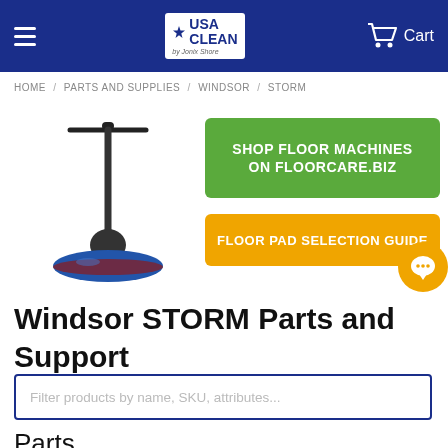USA CLEAN by Jonix Shore | Cart
HOME / PARTS AND SUPPLIES / WINDSOR / STORM
[Figure (photo): Floor buffer / floor machine (Windsor STORM) — black and red rotary floor polisher with long handle]
SHOP FLOOR MACHINES ON FLOORCARE.BIZ
FLOOR PAD SELECTION GUIDE
Windsor STORM Parts and Support
Filter products by name, SKU, attributes...
Parts